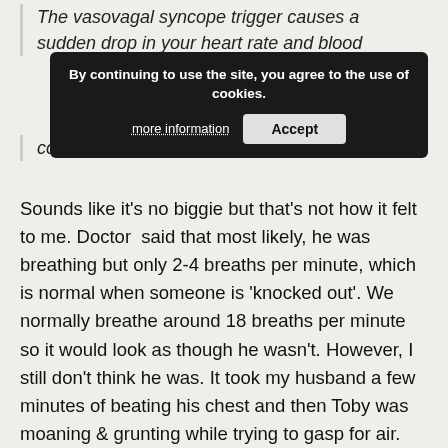The vasovagal syncope trigger causes a sudden drop in your heart rate and blood pressure that leads to reduce blood flow to your brain, which results in a brief loss of consciousness.
By continuing to use the site, you agree to the use of cookies. more information | Accept
Sounds like it's no biggie but that's not how it felt to me. Doctor said that most likely, he was breathing but only 2-4 breaths per minute, which is normal when someone is 'knocked out'. We normally breathe around 18 breaths per minute so it would look as though he wasn't. However, I still don't think he was. It took my husband a few minutes of beating his chest and then Toby was moaning & grunting while trying to gasp for air. When he came too, he sorta freaked out and his arms were jerking, etc but my husband held him. Toby said that when he woke up, he felt like he had been dreaming but everything was blurry. He doesn't remember much from it.  He's okay.